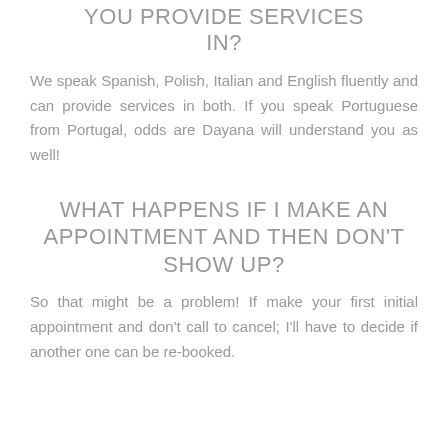YOU PROVIDE SERVICES IN?
We speak Spanish, Polish, Italian and English fluently and can provide services in both. If you speak Portuguese from Portugal, odds are Dayana will understand you as well!
WHAT HAPPENS IF I MAKE AN APPOINTMENT AND THEN DON'T SHOW UP?
So that might be a problem! If make your first initial appointment and don't call to cancel; I'll have to decide if another one can be re-booked.